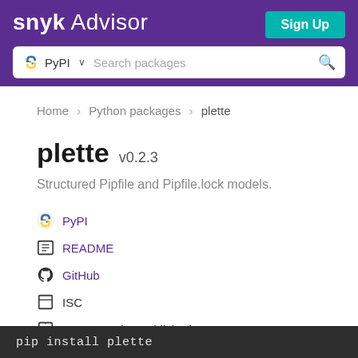snyk Advisor
PyPI   Search packages
Home > Python packages > plette
plette v0.2.3
Structured Pipfile and Pipfile.lock models.
PyPI
README
GitHub
ISC
Latest version published 3 years ago
pip install plette